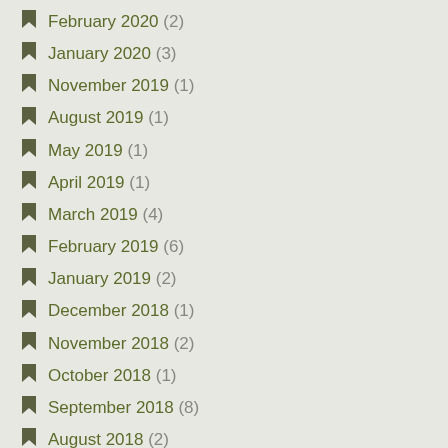February 2020 (2)
January 2020 (3)
November 2019 (1)
August 2019 (1)
May 2019 (1)
April 2019 (1)
March 2019 (4)
February 2019 (6)
January 2019 (2)
December 2018 (1)
November 2018 (2)
October 2018 (1)
September 2018 (8)
August 2018 (2)
January 2018 (4)
December 2017 (1)
November 2017 (3)
October 2017 (3)
November 2016 (2)